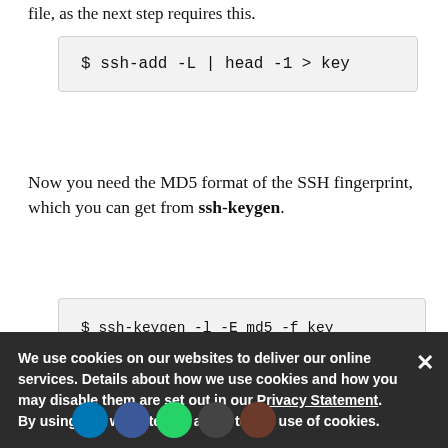file, as the next step requires this.
$ ssh-add -L | head -1 > key
Now you need the MD5 format of the SSH fingerprint, which you can get from ssh-keygen.
$ ssh-keygen -l -E md5 -f key
2048
MD5:9e:98:82:87:5d:a4:fe:e3:8
(none) (RSA)
We use cookies on our websites to deliver our online services. Details about how we use cookies and how you may disable them are set out in our Privacy Statement. By using this website you agree to our use of cookies.